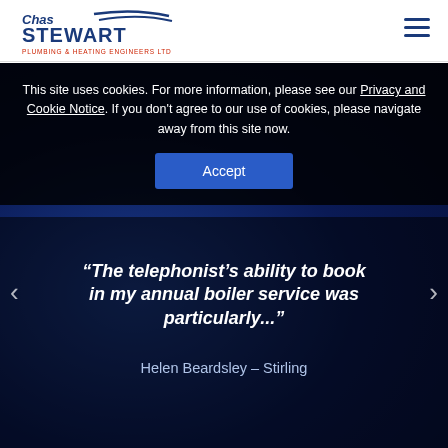Chas Stewart Plumbing & Heating Engineers Ltd
[Figure (screenshot): Dark blue hero image showing a night scene with trees silhouetted, a van or vehicle partially visible in the lower left. Overlaid is a testimonial quote and navigation arrows.]
"The telephonist's ability to book in my annual boiler service was particularly..."
Helen Beardsley – Stirling
This site uses cookies. For more information, please see our Privacy and Cookie Notice. If you don't agree to our use of cookies, please navigate away from this site now.
Accept